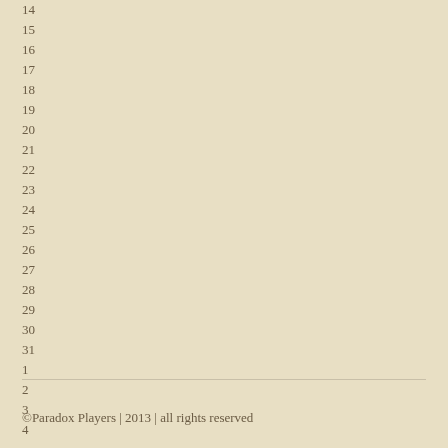14
15
16
17
18
19
20
21
22
23
24
25
26
27
28
29
30
31
1
2
3
4
©Paradox Players | 2013 | all rights reserved